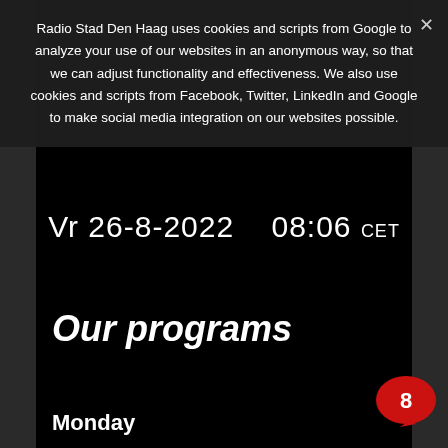Radio Stad Den Haag uses cookies and scripts from Google to analyze your use of our websites in an anonymous way, so that we can adjust functionality and effectiveness. We also use cookies and scripts from Facebook, Twitter, LinkedIn and Google to make social media integration on our websites possible.
Vr 26-8-2022   08:06 CET
Our programs
Monday
[Figure (illustration): Red speech bubble with the number 8 inside, positioned bottom right]